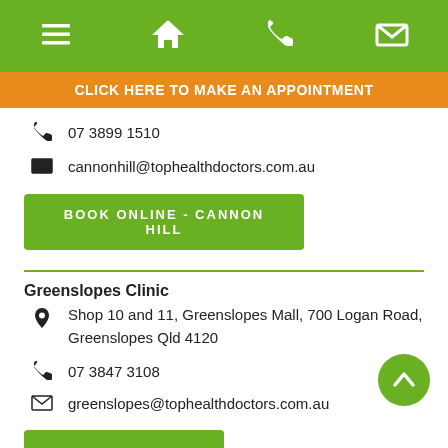[Figure (other): Top navigation bar with green background and four white icons: hamburger menu, home, phone, email]
CLICK HERE TO MAKE AN APPOINTMENT
07 3899 1510
cannonhill@tophealthdoctors.com.au
BOOK ONLINE - CANNON HILL
Greenslopes Clinic
Shop 10 and 11, Greenslopes Mall, 700 Logan Road, Greenslopes Qld 4120
07 3847 3108
greenslopes@tophealthdoctors.com.au